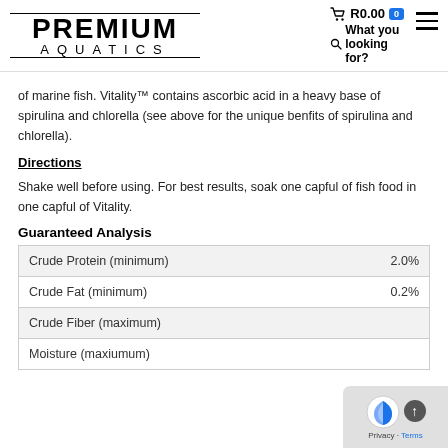PREMIUM AQUATICS — R0.00 0 — What you looking for?
of marine fish. Vitality™ contains ascorbic acid in a heavy base of spirulina and chlorella (see above for the unique benfits of spirulina and chlorella).
Directions
Shake well before using. For best results, soak one capful of fish food in one capful of Vitality.
Guaranteed Analysis
|  |  |
| --- | --- |
| Crude Protein (minimum) | 2.0% |
| Crude Fat (minimum) | 0.2% |
| Crude Fiber (maximum) | 0.0% |
| Moisture (maxiumum) |  |